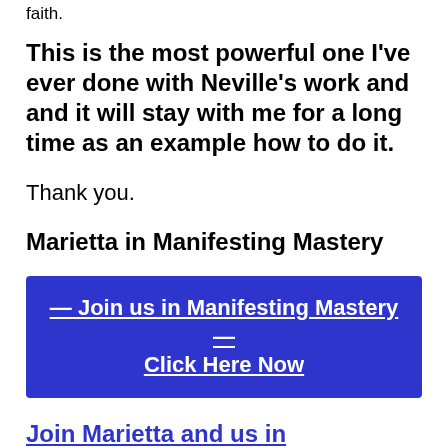faith.
This is the most powerful one I've ever done with Neville's work and and it will stay with me for a long time as an example how to do it.
Thank you.
Marietta in Manifesting Mastery
— Join us in Manifesting Mastery — Click Here Now
Join Marietta and us in Manifesting Mastery – Click Here